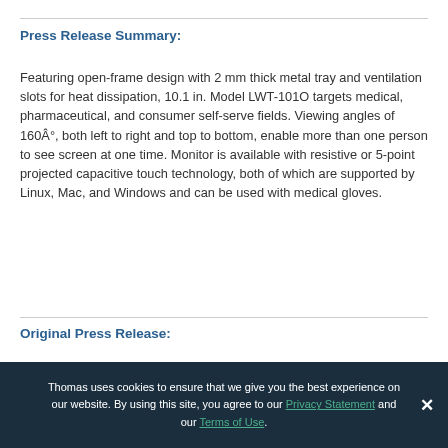Press Release Summary:
Featuring open-frame design with 2 mm thick metal tray and ventilation slots for heat dissipation, 10.1 in. Model LWT-101O targets medical, pharmaceutical, and consumer self-serve fields. Viewing angles of 160Â°, both left to right and top to bottom, enable more than one person to see screen at one time. Monitor is available with resistive or 5-point projected capacitive touch technology, both of which are supported by Linux, Mac, and Windows and can be used with medical gloves.
Original Press Release:
Thomas uses cookies to ensure that we give you the best experience on our website. By using this site, you agree to our Privacy Statement and our Terms of Use.